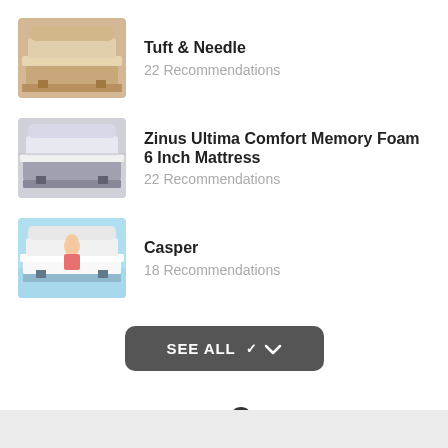Tuft & Needle
22 Recommendations
Zinus Ultima Comfort Memory Foam 6 Inch Mattress
22 Recommendations
Casper
18 Recommendations
SEE ALL
AD